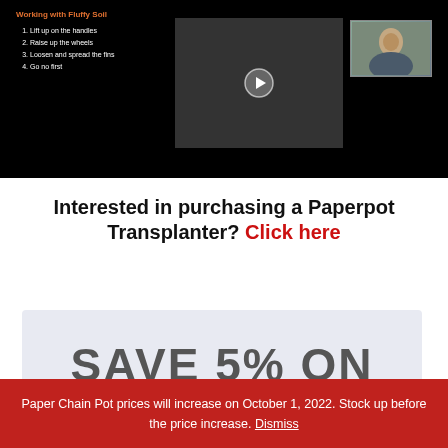[Figure (screenshot): Video thumbnail showing a paperpot transplanter tool being operated, with a black background, orange text title 'Working with Fluffy Soil', a numbered list of steps, a center video thumbnail with play button, and a corner webcam thumbnail of a person.]
Interested in purchasing a Paperpot Transplanter?  Click here
[Figure (other): Light blue/gray promotional box with large gray text 'SAVE 5% ON' partially visible]
Paper Chain Pot prices will increase on October 1, 2022. Stock up before the price increase. Dismiss